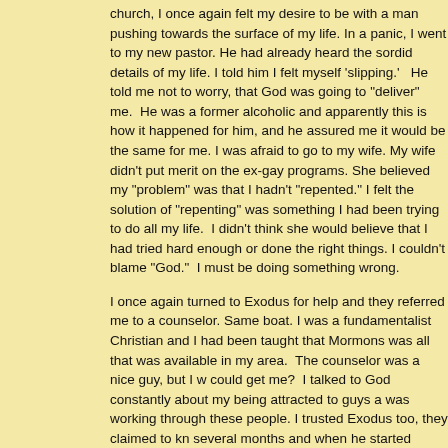church, I once again felt my desire to be with a man pushing towards the surface of my life. In a panic, I went to my new pastor. He had already heard the sordid details of my life. I told him I felt myself 'slipping.'   He told me not to worry, that God was going to "deliver" me.  He was a former alcoholic and apparently this is how it happened for him, and he assured me it would be the same for me. I was afraid to go to my wife. My wife didn't put merit on the ex-gay programs. She believed my "problem" was that I hadn't "repented." I felt the solution of "repenting" was something I had been trying to do all my life.  I didn't think she would believe that I had tried hard enough or done the right things. I couldn't blame "God."  I must be doing something wrong.
I once again turned to Exodus for help and they referred me to a counselor. Same boat. I was a fundamentalist Christian and I had been taught that Mormons were... was all that was available in my area.  The counselor was a nice guy, but I wondered could get me?  I talked to God constantly about my being attracted to guys and that he was working through these people. I trusted Exodus too, they claimed to know... several months and when he started  giving me Mormon books, I stopped c... Mormon, I'd be going to hell for sure. Besides, while the counseling was inte... me to resist it. I began to wonder, does anyone have an answer?  It never o... During this process, I again slid back into the anonymous sex pattern, I felt e... thinking of myself as an utter failure. But, by this time failure was my consta... more.
In 1998 I got arrested for soliciting an undercover police officer for sex, I wa... car.  They finger printed me and took mug shots.  I felt utterly alone and gut... getting arrested was that "bottom" I had to hit, how low could I go?  Now I w... been instructed by Exodus ministries that being gay is just like alcoholism o... though "God"  and I both knew how low I had felt most of my life.  I could no... how I could hate myself and still do these things. How could I want to chang... wrong?  No one else could answer these questions for me either.  I was sim...